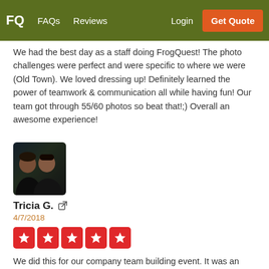FQ  FAQs  Reviews  Login  Get Quote
We had the best day as a staff doing FrogQuest! The photo challenges were perfect and were specific to where we were (Old Town). We loved dressing up! Definitely learned the power of teamwork & communication all while having fun! Our team got through 55/60 photos so beat that!;) Overall an awesome experience!
[Figure (photo): Profile photo of Tricia G. showing two people in a dark selfie]
Tricia G.
4/7/2018
[Figure (other): Five red star rating boxes]
We did this for our company team building event. It was an absolute hit! The tasks were fun, creative and gave us belly laughs throughout the whole thing!
I can't wait to do this again. I'm already thinking about when to do it next and with what group of people!